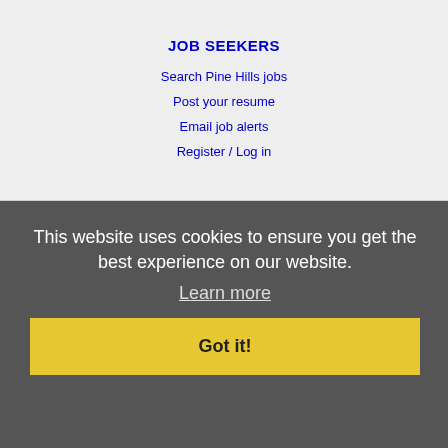JOB SEEKERS
Search Pine Hills jobs
Post your resume
Email job alerts
Register / Log in
EMPLOYERS
Post jobs
Search resumes
Email resume alerts
Advertise
This website uses cookies to ensure you get the best experience on our website.
Learn more
Got it!